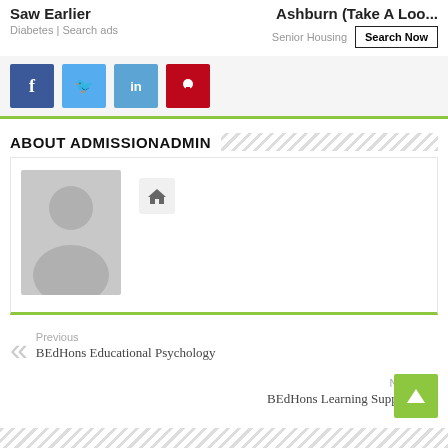Saw Earlier
Diabetes | Search ads
Ashburn (Take A Loo...
Senior Housing
Search Now
[Figure (other): Social media sharing buttons: Facebook, Twitter, LinkedIn, Pinterest]
ABOUT ADMISSIONADMIN
[Figure (photo): Grey avatar placeholder image of a person silhouette]
[Figure (other): Home icon button]
Previous
BEdHons Educational Psychology
Next
BEdHons Learning Support